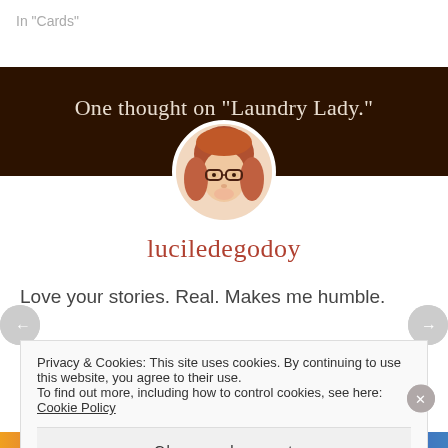In “Cards”
One thought on “Laundry Lady.”
[Figure (photo): Circular avatar photo of a woman with glasses and reddish-brown hair, overlapping the dark banner and white content area below.]
luciledegodoy
Love your stories. Real. Makes me humble.
Privacy & Cookies: This site uses cookies. By continuing to use this website, you agree to their use.
To find out more, including how to control cookies, see here: Cookie Policy
Close and accept